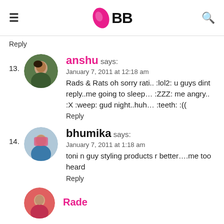IMBB
Reply
13. anshu says:
January 7, 2011 at 12:18 am
Rads & Rats oh sorry rati.. :lol2: u guys dint reply..me going to sleep… :ZZZ: me angry.. :X :weep: gud night..huh… :teeth: :((
Reply
14. bhumika says:
January 7, 2011 at 1:18 am
toni n guy styling products r better….me too heard
Reply
[Figure (photo): Partial avatar image of another commenter at bottom of page]